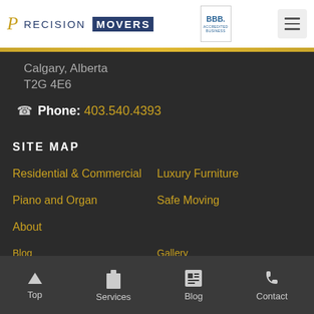Precision Movers | BBB Accredited Business
Calgary, Alberta
T2G 4E6
Phone: 403.540.4393
SITE MAP
Residential & Commercial
Luxury Furniture
Piano and Organ
Safe Moving
About
Blog
Gallery
Top | Services | Blog | Contact